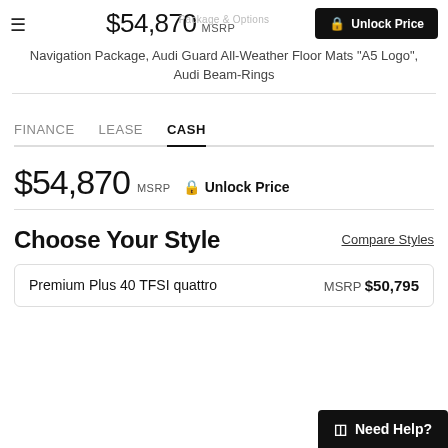$54,870 MSRP | Unlock Price | Package & Options
Navigation Package, Audi Guard All-Weather Floor Mats "A5 Logo", Audi Beam-Rings
FINANCE   LEASE   CASH
$54,870 MSRP  🔒 Unlock Price
Choose Your Style
Compare Styles
Premium Plus 40 TFSI quattro   MSRP $50,795
Need Help?